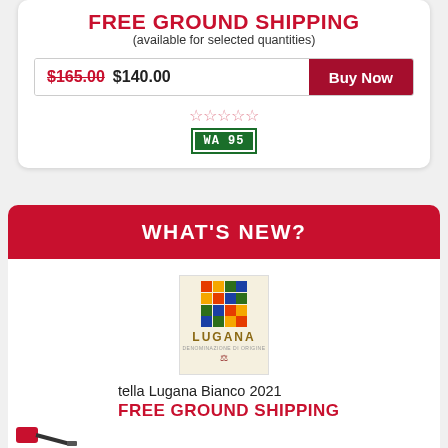FREE GROUND SHIPPING
(available for selected quantities)
$165.00 $140.00  Buy Now
☆☆☆☆☆
WA 95
WHAT'S NEW?
[Figure (logo): Lugana wine label logo with colorful mosaic square pattern at top and 'LUGANA' text in gold on cream background]
tella Lugana Bianco 2021
FREE GROUND SHIPPING